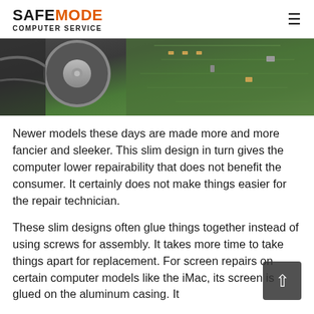SAFEMODE MODE COMPUTER SERVICE
[Figure (photo): Close-up photograph of a computer hard drive circuit board and internal components, showing green PCB with electronic components and a circular metallic element.]
Newer models these days are made more and more fancier and sleeker. This slim design in turn gives the computer lower repairability that does not benefit the consumer. It certainly does not make things easier for the repair technician.
These slim designs often glue things together instead of using screws for assembly. It takes more time to take things apart for replacement. For screen repairs on certain computer models like the iMac, its screen is glued on the aluminum casing. It